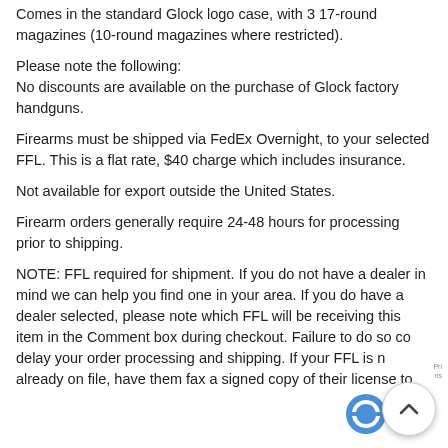Comes in the standard Glock logo case, with 3 17-round magazines (10-round magazines where restricted).
Please note the following:
No discounts are available on the purchase of Glock factory handguns.
Firearms must be shipped via FedEx Overnight, to your selected FFL. This is a flat rate, $40 charge which includes insurance.
Not available for export outside the United States.
Firearm orders generally require 24-48 hours for processing prior to shipping.
NOTE: FFL required for shipment. If you do not have a dealer in mind we can help you find one in your area. If you do have a dealer selected, please note which FFL will be receiving this item in the Comment box during checkout. Failure to do so could delay your order processing and shipping. If your FFL is not already on file, have them fax a signed copy of their license to